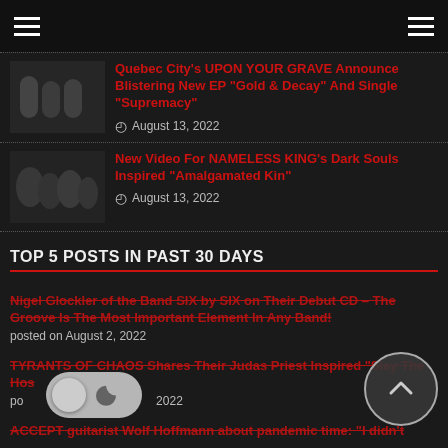Navigation header with hamburger menus
Quebec City's UPON YOUR GRAVE Announce Blistering New EP "Gold & Decay" And Single "Supremacy" — August 13, 2022
New Video For NAMELESS KING's Dark Souls Inspired "Amalgamated Kin" — August 13, 2022
TOP 5 POSTS IN PAST 30 DAYS
Nigel Glockler of the Band SIX by SIX on Their Debut CD – The Groove Is The Most Important Element In Any Band! posted on August 2, 2022
TYRANTS OF CHAOS Shares Their Judas Priest Inspired "Slay The Host" posted on [date] 2022
ACCEPT guitarist Wolf Hoffmann about pandemic time: "I didn't